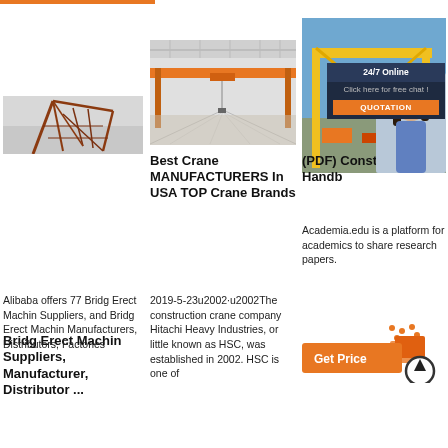[Figure (photo): Rusted/orange crane structure against gray sky]
[Figure (photo): Indoor warehouse with overhead bridge crane, orange beams]
[Figure (photo): Yellow gantry crane outdoors with blue sky and woman customer service representative overlay showing 24/7 Online chat and QUOTATION button]
Bridg Erect Machin Suppliers, Manufacturer, Distributor ...
Alibaba offers 77 Bridg Erect Machin Suppliers, and Bridg Erect Machin Manufacturers, Distributors, Factories
Best Crane MANUFACTURERS In USA TOP Crane Brands
2019-5-23u2002·u2002The construction crane company Hitachi Heavy Industries, or little known as HSC, was established in 2002. HSC is one of
(PDF) Constr Handb
Academia.edu is a platform for academics to share research papers.